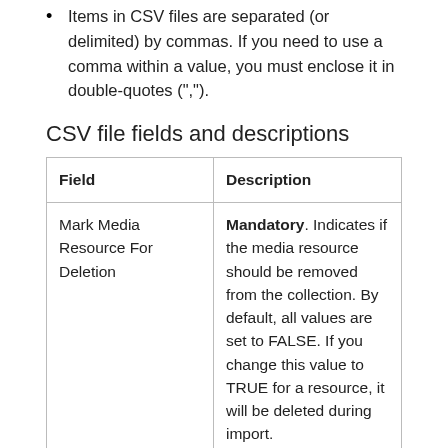Items in CSV files are separated (or delimited) by commas. If you need to use a comma within a value, you must enclose it in double-quotes (",").
CSV file fields and descriptions
| Field | Description |
| --- | --- |
| Mark Media Resource For Deletion | Mandatory. Indicates if the media resource should be removed from the collection. By default, all values are set to FALSE. If you change this value to TRUE for a resource, it will be deleted during import. |
| Audio Resource ID | DO NOT MODIFY. This value represents the unique ID generated |